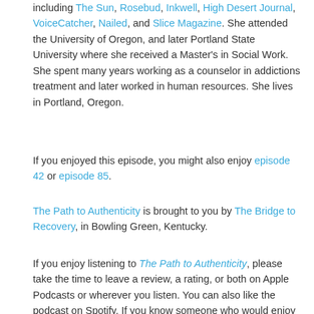including The Sun, Rosebud, Inkwell, High Desert Journal, VoiceCatcher, Nailed, and Slice Magazine. She attended the University of Oregon, and later Portland State University where she received a Master's in Social Work. She spent many years working as a counselor in addictions treatment and later worked in human resources. She lives in Portland, Oregon.
If you enjoyed this episode, you might also enjoy episode 42 or episode 85.
The Path to Authenticity is brought to you by The Bridge to Recovery, in Bowling Green, Kentucky.
If you enjoy listening to The Path to Authenticity, please take the time to leave a review, a rating, or both on Apple Podcasts or wherever you listen. You can also like the podcast on Spotify. If you know someone who would enjoy a particular episode, please share it with them. Questions or comments? Call (561) 247-4757 to